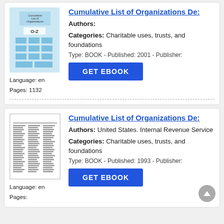[Figure (illustration): Book cover thumbnail for Cumulative List of Organizations - light blue cover with O-Z label and grid layout]
Language: en
Pages: 1132
Cumulative List of Organizations De:
Authors:
Categories: Charitable uses, trusts, and foundations
Type: BOOK - Published: 2001 - Publisher:
[Figure (illustration): Book cover thumbnail showing text columns - white background with small printed text in columns]
Language: en
Pages:
Cumulative List of Organizations De:
Authors: United States. Internal Revenue Service
Categories: Charitable uses, trusts, and foundations
Type: BOOK - Published: 1993 - Publisher: